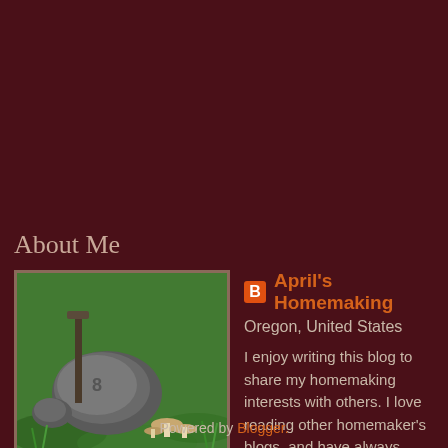About Me
[Figure (photo): Profile photo showing garden scene with mushrooms on grass and a garden tool/stake]
April's Homemaking
Oregon, United States
I enjoy writing this blog to share my homemaking interests with others. I love reading other homemaker's blogs, and have always learned a lot from them and been inspired. I think blogging is a great way for homemaker's to inspire and connect with one another.
View my complete profile
Powered by Blogger.